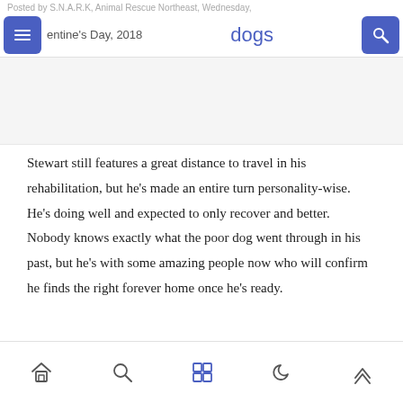Posted by S.N.A.R.K, Animal Rescue Northeast, Wednesday, Valentine's Day, 2018 | dogs
Stewart still features a great distance to travel in his rehabilitation, but he’s made an entire turn personality-wise. He’s doing well and expected to only recover and better. Nobody knows exactly what the poor dog went through in his past, but he’s with some amazing people now who will confirm he finds the right forever home once he’s ready.
[navigation icons: home, search, grid, moon, up]